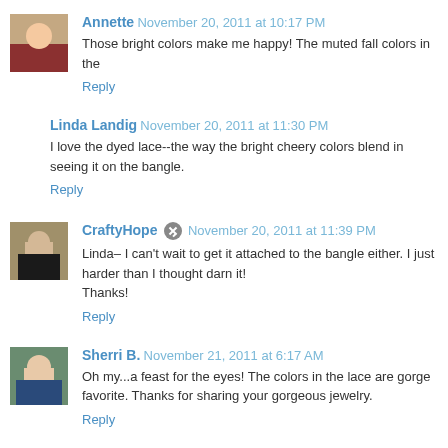Annette  November 20, 2011 at 10:17 PM
Those bright colors make me happy! The muted fall colors in the
Reply
Linda Landig  November 20, 2011 at 11:30 PM
I love the dyed lace--the way the bright cheery colors blend in seeing it on the bangle.
Reply
CraftyHope  November 20, 2011 at 11:39 PM
Linda- I can't wait to get it attached to the bangle either. I just harder than I thought darn it!
Thanks!
Reply
Sherri B.  November 21, 2011 at 6:17 AM
Oh my...a feast for the eyes! The colors in the lace are gorge favorite. Thanks for sharing your gorgeous jewelry.
Reply